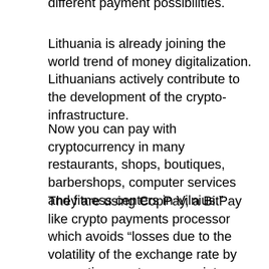different payment possibilities.
Lithuania is already joining the world trend of money digitalization. Lithuanians actively contribute to the development of the crypto-infrastructure.
Now you can pay with cryptocurrency in many restaurants, shops, boutiques, barbershops, computer services and fitness centers in Vilnius.”
They are using CopPay, a BitPay like crypto payments processor which avoids “losses due to the volatility of the exchange rate by converting cryptocurrency into traditional money in real time.”